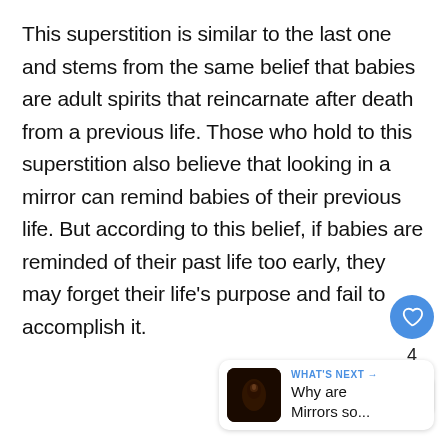This superstition is similar to the last one and stems from the same belief that babies are adult spirits that reincarnate after death from a previous life. Those who hold to this superstition also believe that looking in a mirror can remind babies of their previous life. But according to this belief, if babies are reminded of their past life too early, they may forget their life's purpose and fail to accomplish it.
[Figure (other): UI elements: a blue circular heart/like button, a count of 4, and a share button (circle with plus)]
[Figure (other): WHAT'S NEXT card with thumbnail showing a dark mirror image and text 'Why are Mirrors so...']